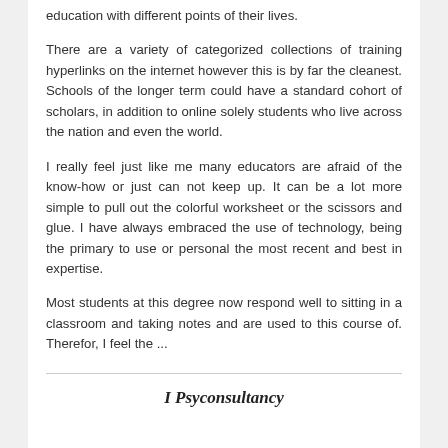education with different points of their lives.
There are a variety of categorized collections of training hyperlinks on the internet however this is by far the cleanest. Schools of the longer term could have a standard cohort of scholars, in addition to online solely students who live across the nation and even the world.
I really feel just like me many educators are afraid of the know-how or just can not keep up. It can be a lot more simple to pull out the colorful worksheet or the scissors and glue. I have always embraced the use of technology, being the primary to use or personal the most recent and best in expertise.
Most students at this degree now respond well to sitting in a classroom and taking notes and are used to this course of. Therefor, I feel the ...
I Psyconsultancy